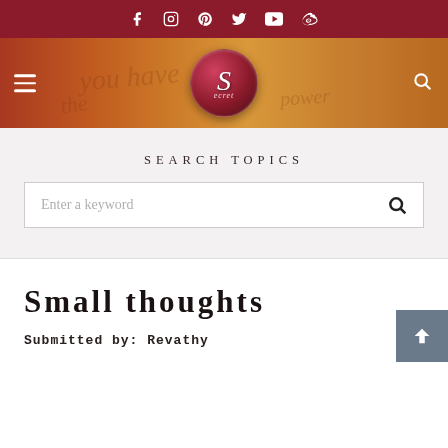Social media icons: Facebook, Instagram, Pinterest, Twitter, YouTube, Weibo
[Figure (logo): The Secret website header banner with logo circle containing stylized 'S' and cursive 'Secret' text, hamburger menu icon on left, search icon on right, on warm orange/red textured background with cursive script watermark]
Search Topics
Enter a keyword [search box]
Small thoughts
Submitted by: Revathy